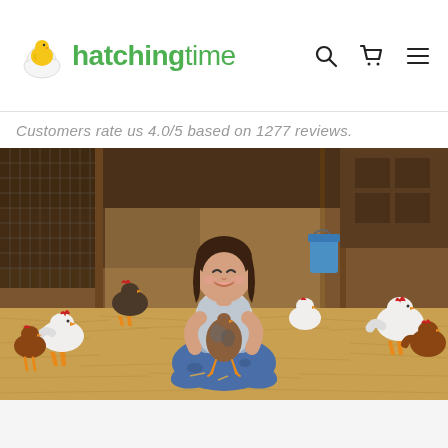hatchingtime — logo with search, cart, and menu icons
Customers rate us 4.0/5 based on 1277 reviews.
[Figure (photo): A young girl with dark hair sitting cross-legged on straw in a chicken coop, smiling and hugging a small brown and grey chicken. Various white and brown chickens are visible in the background inside a barn-like wooden structure.]